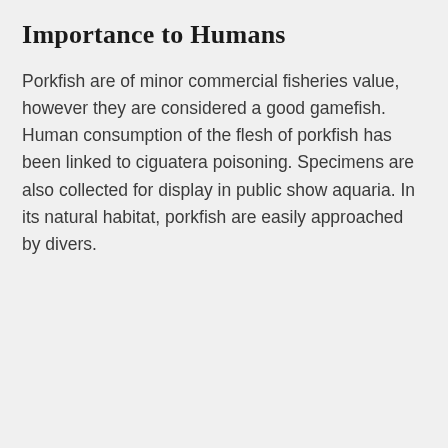Importance to Humans
Porkfish are of minor commercial fisheries value, however they are considered a good gamefish. Human consumption of the flesh of porkfish has been linked to ciguatera poisoning. Specimens are also collected for display in public show aquaria. In its natural habitat, porkfish are easily approached by divers.